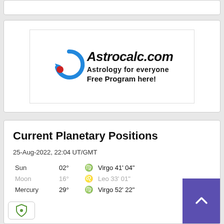[Figure (logo): Astrocalc.com logo with blue circular arrow, red dot, italic bold text reading Astrocalc.com, subtext Astrology for everyone, Free Program here!]
Current Planetary Positions
25-Aug-2022, 22:04 UT/GMT
| Planet | Degrees | Sign | Position |
| --- | --- | --- | --- |
| Sun | 02° | Virgo | 41' 04" |
| Moon | 16° | Leo | 33' 01" |
| Mercury | 29° | Virgo | 52' 22" |